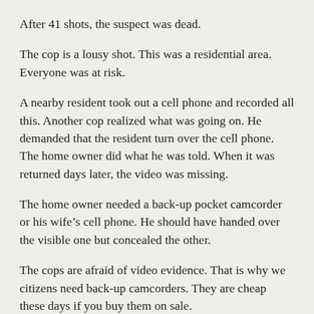After 41 shots, the suspect was dead.
The cop is a lousy shot. This was a residential area. Everyone was at risk.
A nearby resident took out a cell phone and recorded all this. Another cop realized what was going on. He demanded that the resident turn over the cell phone. The home owner did what he was told. When it was returned days later, the video was missing.
The home owner needed a back-up pocket camcorder or his wife’s cell phone. He should have handed over the visible one but concealed the other.
The cops are afraid of video evidence. That is why we citizens need back-up camcorders. They are cheap these days if you buy them on sale.